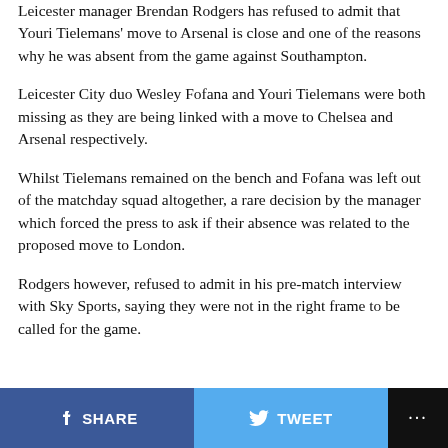Leicester manager Brendan Rodgers has refused to admit that Youri Tielemans' move to Arsenal is close and one of the reasons why he was absent from the game against Southampton.
Leicester City duo Wesley Fofana and Youri Tielemans were both missing as they are being linked with a move to Chelsea and Arsenal respectively.
Whilst Tielemans remained on the bench and Fofana was left out of the matchday squad altogether, a rare decision by the manager which forced the press to ask if their absence was related to the proposed move to London.
Rodgers however, refused to admit in his pre-match interview with Sky Sports, saying they were not in the right frame to be called for the game.
SHARE   TWEET   ...